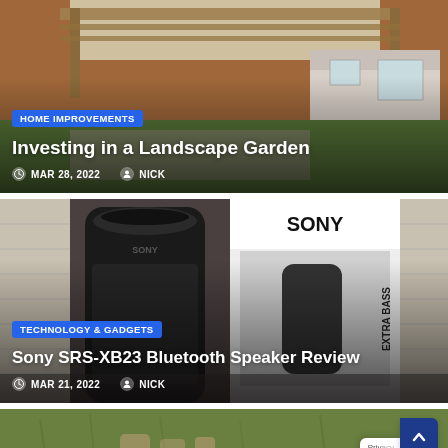[Figure (photo): Garden landscaping photo showing a wooden pergola, brick house, garden shed, and paved area with grass]
HOME IMPROVEMENTS
Investing in a Landscape Garden
MAR 28, 2022  NICK
[Figure (photo): Sony SRS-XB23 Bluetooth speaker in black next to its retail box on a table]
TECHNOLOGY & GADGETS
Sony SRS-XB23 Bluetooth Speaker Review
MAR 21, 2022  NICK
[Figure (photo): Partial view of a third article card at bottom showing green grass]